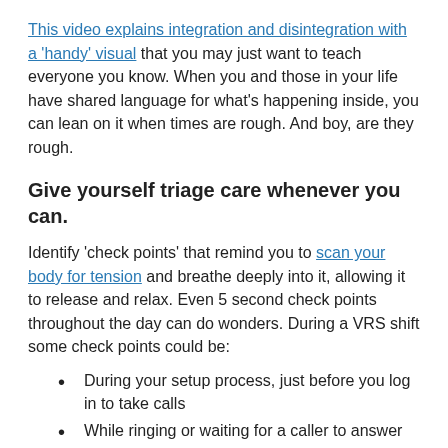This video explains integration and disintegration with a 'handy' visual that you may just want to teach everyone you know. When you and those in your life have shared language for what's happening inside, you can lean on it when times are rough. And boy, are they rough.
Give yourself triage care whenever you can.
Identify 'check points' that remind you to scan your body for tension and breathe deeply into it, allowing it to release and relax. Even 5 second check points throughout the day can do wonders. During a VRS shift some check points could be:
During your setup process, just before you log in to take calls
While ringing or waiting for a caller to answer
While on hold
Between calls
When you log out for a break...